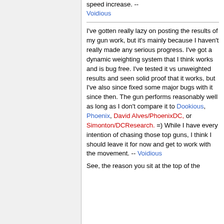speed increase. -- Voidious
I've gotten really lazy on posting the results of my gun work, but it's mainly because I haven't really made any serious progress. I've got a dynamic weighting system that I think works and is bug free. I've tested it vs unweighted results and seen solid proof that it works, but I've also since fixed some major bugs with it since then. The gun performs reasonably well as long as I don't compare it to Dookious, Phoenix, David Alves/PhoenixDC, or Simonton/DCResearch. =) While I have every intention of chasing those top guns, I think I should leave it for now and get to work with the movement. -- Voidious
See, the reason you sit at the top of the